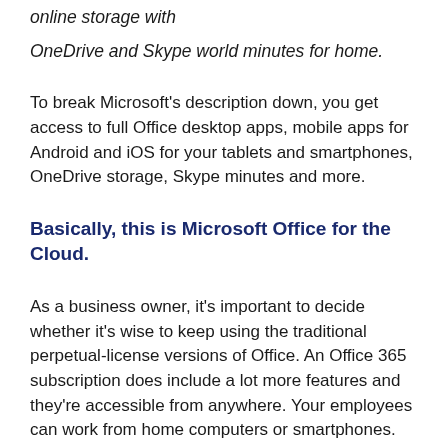online storage with
OneDrive and Skype world minutes for home.
To break Microsoft's description down, you get access to full Office desktop apps, mobile apps for Android and iOS for your tablets and smartphones, OneDrive storage, Skype minutes and more.
Basically, this is Microsoft Office for the Cloud.
As a business owner, it's important to decide whether it's wise to keep using the traditional perpetual-license versions of Office. An Office 365 subscription does include a lot more features and they're accessible from anywhere. Your employees can work from home computers or smartphones.